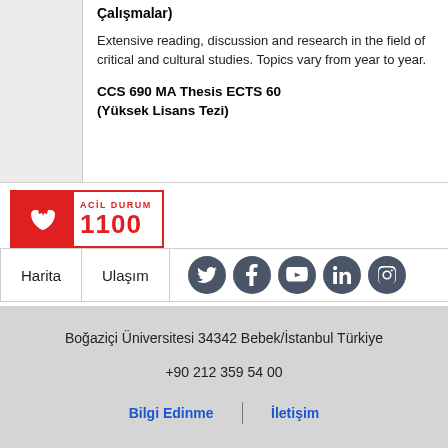Çalışmalar)
Extensive reading, discussion and research in the field of critical and cultural studies. Topics vary from year to year.
CCS 690 MA Thesis ECTS 60
(Yüksek Lisans Tezi)
[Figure (logo): ACİL DURUM 1100 emergency phone logo with red background and phone icon]
Harita
Ulaşım
[Figure (other): Social media icons: Twitter, Facebook, YouTube, LinkedIn, Instagram]
Boğaziçi Üniversitesi 34342 Bebek/İstanbul Türkiye
+90 212 359 54 00
Bilgi Edinme | İletişim